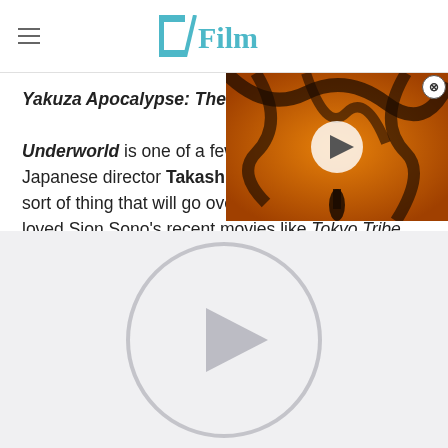/Film
Yakuza Apocalypse: The Great War of the Underworld is one of a few films from Japanese director Takashi — sort of thing that will go over well for those who've loved Sion Sono's recent movies like Tokyo Tribe and Why Don't You Play in Hell.
[Figure (screenshot): Video player overlay showing a dark orange/amber scene with tentacle-like structures and a silhouetted figure, with a play button in the center and a close button in the top right corner]
[Figure (screenshot): Large circular play button on a light gray background, representing a video player control]